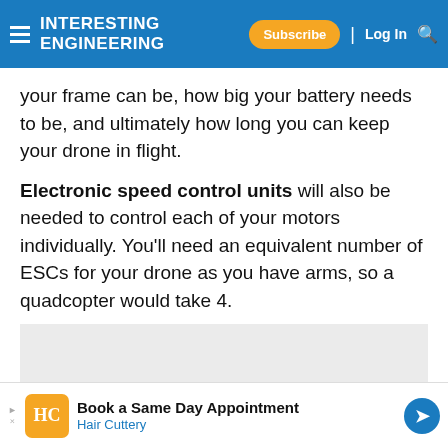Interesting Engineering — Subscribe | Log In
your frame can be, how big your battery needs to be, and ultimately how long you can keep your drone in flight.
Electronic speed control units will also be needed to control each of your motors individually. You'll need an equivalent number of ESCs for your drone as you have arms, so a quadcopter would take 4.
MOST POPULAR
[Figure (photo): Dark background image partially visible at bottom]
Book a Same Day Appointment
Hair Cuttery